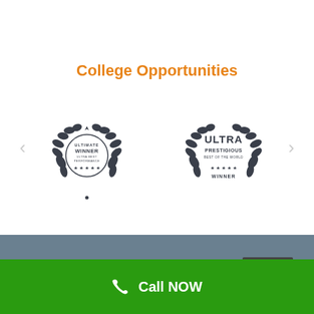College Opportunities
[Figure (logo): Ultimate Winner Ultra Best Performance award badge with laurel wreath and stars]
[Figure (logo): Ultra Prestigious Best of the World Winner award badge with laurel wreath and stars]
Call NOW